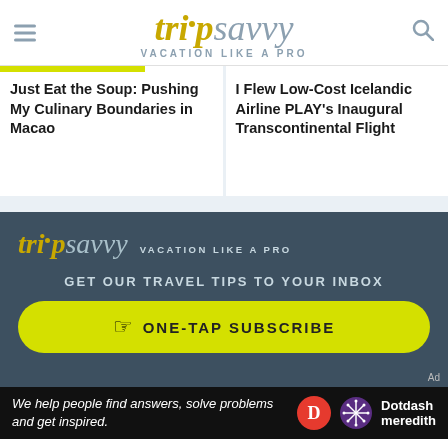tripsavvy VACATION LIKE A PRO
Just Eat the Soup: Pushing My Culinary Boundaries in Macao
I Flew Low-Cost Icelandic Airline PLAY's Inaugural Transcontinental Flight
[Figure (screenshot): TripSavvy dark footer with logo, GET OUR TRAVEL TIPS TO YOUR INBOX text, and ONE-TAP SUBSCRIBE yellow button]
[Figure (screenshot): Dotdash Meredith bottom banner ad: We help people find answers, solve problems and get inspired.]